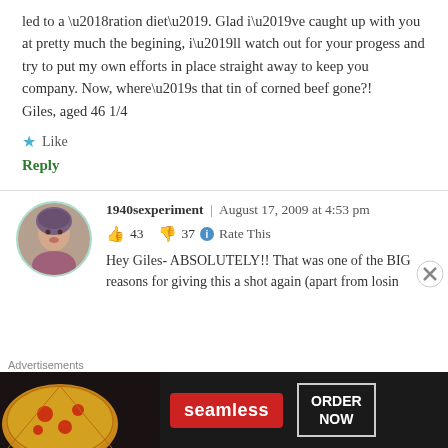led to a ‘ration diet’. Glad i’ve caught up with you at pretty much the begining, i’ll watch out for your progess and try to put my own efforts in place straight away to keep you company. Now, where’s that tin of corned beef gone?!
Giles, aged 46 1/4
★ Like
Reply
1940sexperiment  |  August 17, 2009 at 4:53 pm
👍 43  👎 37  ⓘ  Rate This
Hey Giles- ABSOLUTELY!! That was one of the BIG reasons for giving this a shot again (apart from losin
[Figure (photo): Advertisement banner for Seamless food ordering service showing pizza image, Seamless logo in red, and ORDER NOW button]
Advertisements